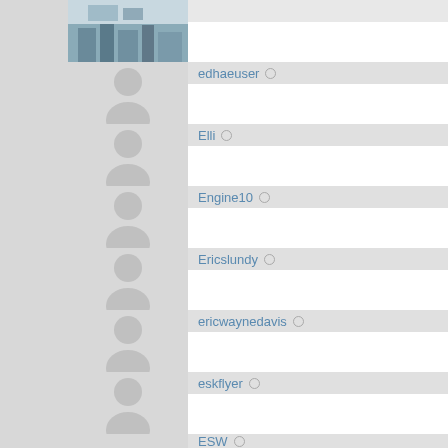[Figure (screenshot): User list interface showing profile avatars and usernames with status indicators. Users listed: edhaeuser, Elli, Engine10, Ericslundy, ericwaynedavis, eskflyer, ESW. First entry has a real photo avatar (landscape/cityscape image), rest have default grey silhouette avatars.]